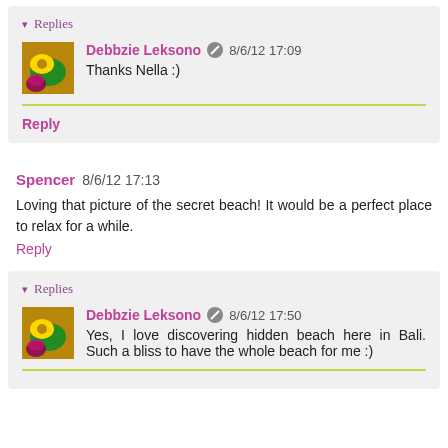▾ Replies
Debbzie Leksono 8/6/12 17:09
Thanks Nella :)
Reply
Spencer 8/6/12 17:13
Loving that picture of the secret beach! It would be a perfect place to relax for a while.
Reply
▾ Replies
Debbzie Leksono 8/6/12 17:50
Yes, I love discovering hidden beach here in Bali. Such a bliss to have the whole beach for me :)